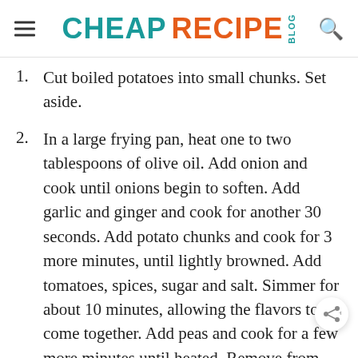CHEAP RECIPE BLOG
1. Cut boiled potatoes into small chunks. Set aside.
2. In a large frying pan, heat one to two tablespoons of olive oil. Add onion and cook until onions begin to soften. Add garlic and ginger and cook for another 30 seconds. Add potato chunks and cook for 3 more minutes, until lightly browned. Add tomatoes, spices, sugar and salt. Simmer for about 10 minutes, allowing the flavors to come together. Add peas and cook for a few more minutes until heated. Remove from heat.
3. Serve with plain yogurt and naan bread or...